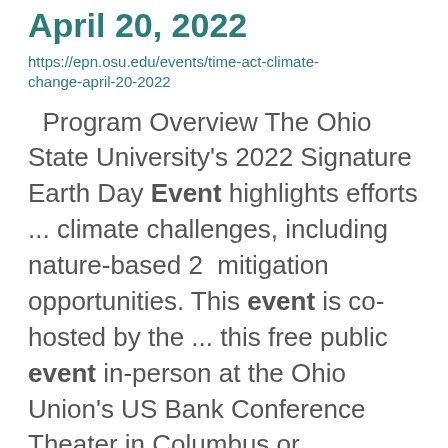April 20, 2022
https://epn.osu.edu/events/time-act-climate-change-april-20-2022
Program Overview The Ohio State University's 2022 Signature Earth Day Event highlights efforts ... climate challenges, including nature-based 2 mitigation opportunities. This event is co-hosted by the ... this free public event in-person at the Ohio Union's US Bank Conference Theater in Columbus or ...
Publication Design and Production
https://acel.osu.edu/courses/agrcomm-4130
AGRCOMM 4130 b t d t t d t t